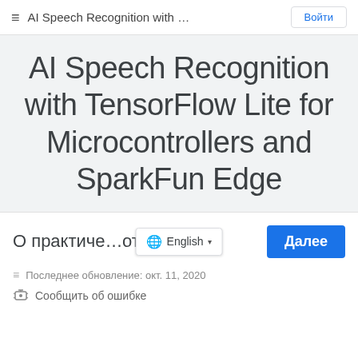AI Speech Recognition with … Войти
AI Speech Recognition with TensorFlow Lite for Microcontrollers and SparkFun Edge
О практиче… оте
English
Далее
Последнее обновление: окт. 11, 2020
Сообщить об ошибке